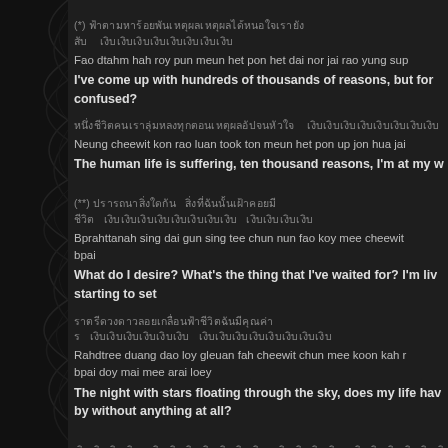(*) [Thai text] [Thai text]
Fao dtahm hah roy pun meun het pon het dai nor jai rao yung sup
I've come up with hundreds of thousands of reasons, but for confused?
[Thai text] [Thai text]
Neung cheewit kon rao luan took ton meun het pon up jon hua jai
The human life is suffering, ten thousand reasons, I'm at my w
(**) [Thai text] [Thai text] [Thai text] [Thai text]
Bprahttanah sing dai gun sing tee chun nun fao koy mee cheewit bpai
What do I desire? What's the thing that I've waited for? I'm liv starting to set
[Thai text] [Thai text] [Thai text] [Thai text]
Rahdtree duang dao loy gleuan fah cheewit chun mee koon kah r bpai doy mai mee arai loey
The night with stars floating through the sky, does my life hav by without anything at all?
[Thai text] [Thai text] [Thai text] [Thai text]
Ho...